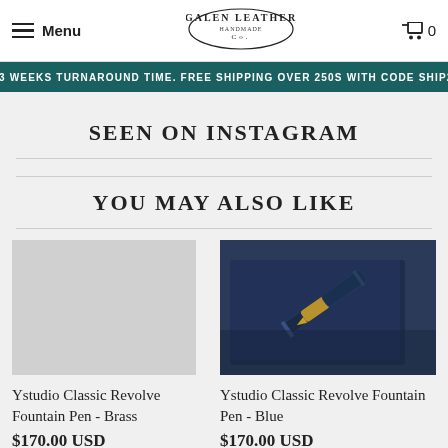Menu | Galen Leather Co. | Cart 0
2-3 WEEKS TURNAROUND TIME. FREE SHIPPING OVER 250S WITH CODE SHIP25
SEEN ON INSTAGRAM
YOU MAY ALSO LIKE
[Figure (photo): Ystudio Classic Revolve Fountain Pen in Blue lying on a dark blue leather notebook]
Ystudio Classic Revolve Fountain Pen - Brass
$170.00 USD
Ystudio Classic Revolve Fountain Pen - Blue
$170.00 USD